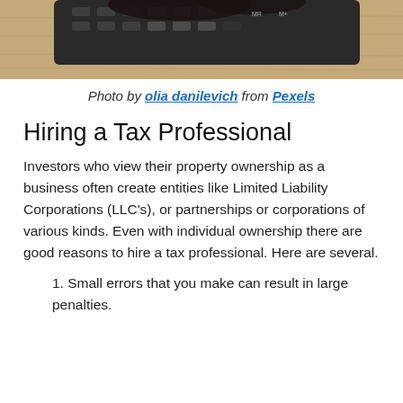[Figure (photo): Photo of a hand near a calculator on a wooden surface, cropped at top of page]
Photo by olia danilevich from Pexels
Hiring a Tax Professional
Investors who view their property ownership as a business often create entities like Limited Liability Corporations (LLC’s), or partnerships or corporations of various kinds. Even with individual ownership there are good reasons to hire a tax professional. Here are several.
Small errors that you make can result in large penalties.